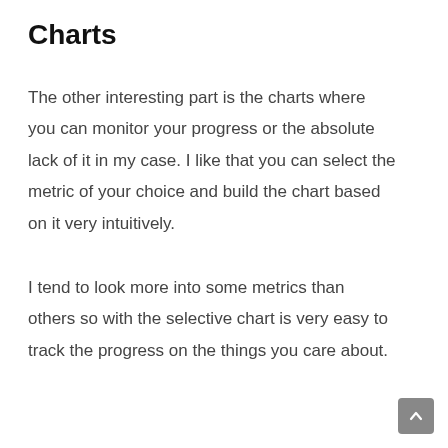Charts
The other interesting part is the charts where you can monitor your progress or the absolute lack of it in my case. I like that you can select the metric of your choice and build the chart based on it very intuitively.
I tend to look more into some metrics than others so with the selective chart is very easy to track the progress on the things you care about.